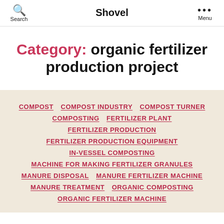Search  Shovel  Menu
Category: organic fertilizer production project
COMPOST
COMPOST INDUSTRY
COMPOST TURNER
COMPOSTING
FERTILIZER PLANT
FERTILIZER PRODUCTION
FERTILIZER PRODUCTION EQUIPMENT
IN-VESSEL COMPOSTING
MACHINE FOR MAKING FERTILIZER GRANULES
MANURE DISPOSAL
MANURE FERTILIZER MACHINE
MANURE TREATMENT
ORGANIC COMPOSTING
ORGANIC FERTILIZER MACHINE